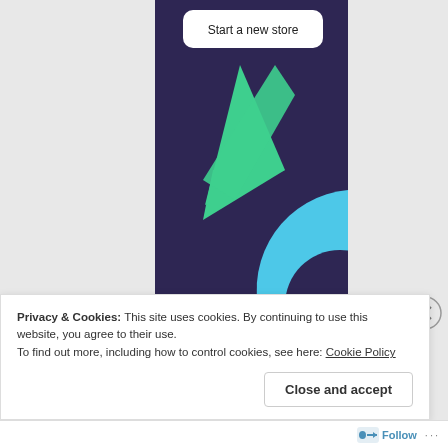[Figure (illustration): Advertisement banner with dark purple background, a green triangle shape on the left and a cyan/blue circle arc on the right, with a 'Start a new store' button at the top]
REPORT THIS AD
Privacy & Cookies: This site uses cookies. By continuing to use this website, you agree to their use.
To find out more, including how to control cookies, see here: Cookie Policy
Close and accept
Follow ...